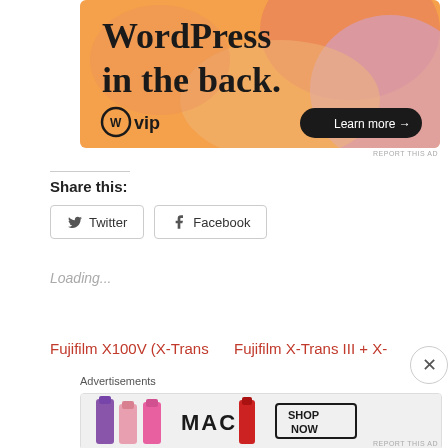[Figure (illustration): WordPress VIP advertisement banner. Orange and pink gradient background with abstract blob shapes. Text reads 'WordPress in the back.' with WordPress VIP logo and 'Learn more →' button in dark pill shape.]
REPORT THIS AD
Share this:
Twitter
Facebook
Loading...
Fujifilm X100V (X-Trans
Fujifilm X-Trans III + X-
Advertisements
[Figure (illustration): MAC Cosmetics advertisement showing lipsticks in purple, pink and red with MAC logo and 'SHOP NOW' button in black outline box.]
REPORT THIS AD